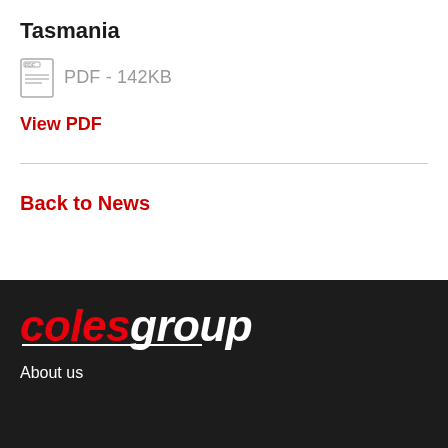Tasmania
PDF - 142KB
View PDF
Back to News
[Figure (logo): Coles Group logo in red and white text on dark background]
About us